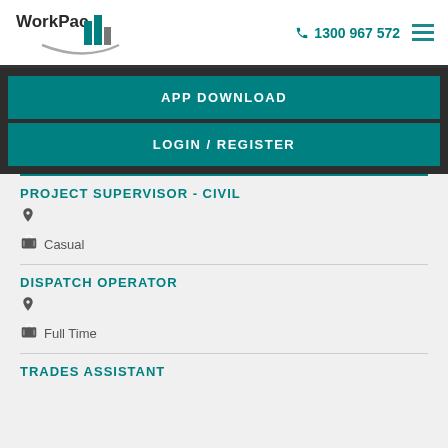[Figure (logo): WorkPac logo with teal building icon and swoosh]
1300 967 572
APP DOWNLOAD
LOGIN / REGISTER
PROJECT SUPERVISOR - CIVIL
Casual
DISPATCH OPERATOR
Full Time
TRADES ASSISTANT